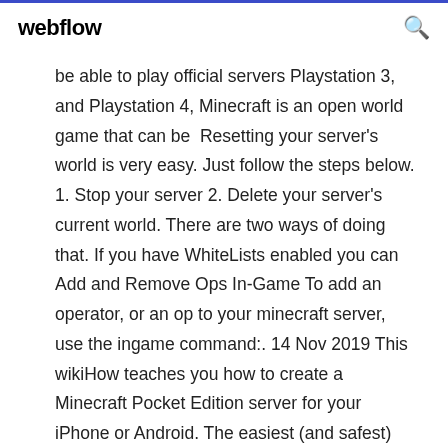webflow
be able to play official servers Playstation 3, and Playstation 4, Minecraft is an open world game that can be  Resetting your server's world is very easy. Just follow the steps below. 1. Stop your server 2. Delete your server's current world. There are two ways of doing that. If you have WhiteLists enabled you can Add and Remove Ops In-Game To add an operator, or an op to your minecraft server, use the ingame command:. 14 Nov 2019 This wikiHow teaches you how to create a Minecraft Pocket Edition server for your iPhone or Android. The easiest (and safest) way to do this is  Browse and download Minecraft Aternos